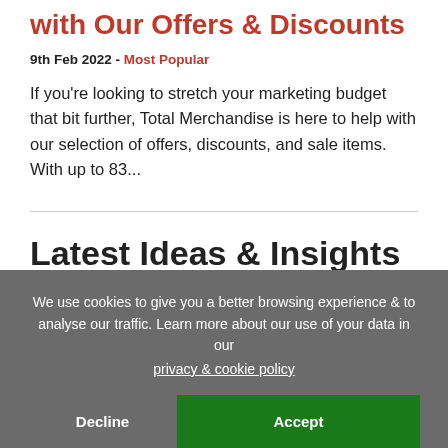with Our Offers & Discounts
9th Feb 2022 - Most Popular
If you're looking to stretch your marketing budget that bit further, Total Merchandise is here to help with our selection of offers, discounts, and sale items. With up to 83...
Latest Ideas & Insights
We use cookies to give you a better browsing experience & to analyse our traffic. Learn more about our use of your data in our privacy & cookie policy
Decline
Accept